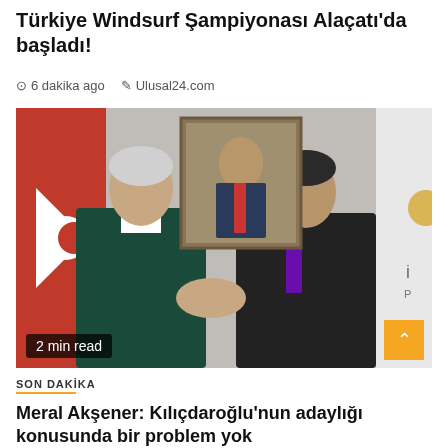Türkiye Windsurf Şampiyonası Alaçatı'da başladı!
6 dakika ago   Ulusal24.com
[Figure (photo): Two people shaking hands in front of a Turkish flag and a portrait painting on the wall, with a white party flag visible on the right side. Badge reads: 2 min read]
SON DAKİKA
Meral Akşener: Kılıçdaroğlu'nun adaylığı konusunda bir problem yok